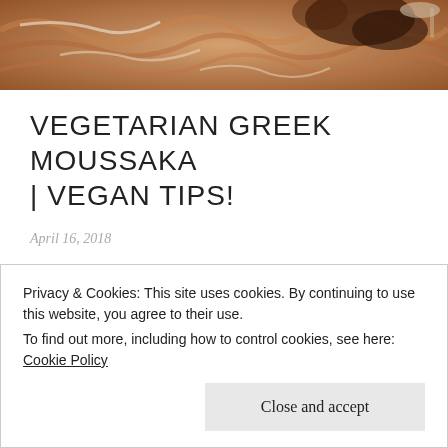[Figure (photo): Close-up overhead photo of moussaka dish with sauce and spoon visible]
VEGETARIAN GREEK MOUSSAKA | VEGAN TIPS!
April 16, 2018
If you've ever eaten a moussaka at a traditional Greek restaurant, you'll know how delicious it is! I've tried recreating my favourite moussakas a few times (with the first attempt being a total disaster..) but have
Privacy & Cookies: This site uses cookies. By continuing to use this website, you agree to their use.
To find out more, including how to control cookies, see here: Cookie Policy
[Close and accept]